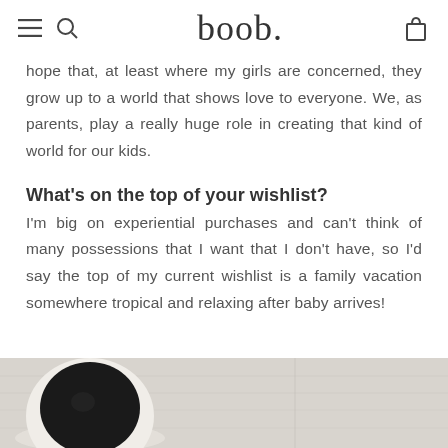boob.
hope that, at least where my girls are concerned, they grow up to a world that shows love to everyone. We, as parents, play a really huge role in creating that kind of world for our kids.
What’s on the top of your wishlist?
I’m big on experiential purchases and can’t think of many possessions that I want that I don’t have, so I’d say the top of my current wishlist is a family vacation somewhere tropical and relaxing after baby arrives!
[Figure (photo): A top-down photo of a white cup of black coffee on a light grey/white textured surface]